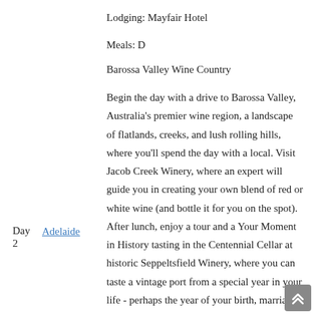Lodging: Mayfair Hotel
Meals: D
Barossa Valley Wine Country
Begin the day with a drive to Barossa Valley, Australia's premier wine region, a landscape of flatlands, creeks, and lush rolling hills, where you'll spend the day with a local. Visit Jacob Creek Winery, where an expert will guide you in creating your own blend of red or white wine (and bottle it for you on the spot). After lunch, enjoy a tour and a Your Moment in History tasting in the Centennial Cellar at historic Seppeltsfield Winery, where you can taste a vintage port from a special year in your life - perhaps the year of your birth, marriage, etc. Return late afternoon to Adelaide, where you'll spend the evening and enjoy dinner as you please.
Day 2
Adelaide